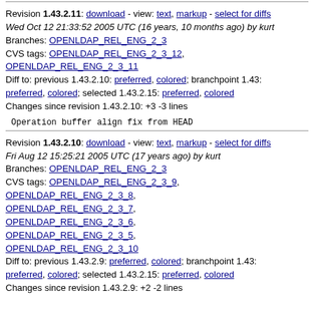Revision 1.43.2.11: download - view: text, markup - select for diffs Wed Oct 12 21:33:52 2005 UTC (16 years, 10 months ago) by kurt Branches: OPENLDAP_REL_ENG_2_3 CVS tags: OPENLDAP_REL_ENG_2_3_12, OPENLDAP_REL_ENG_2_3_11 Diff to: previous 1.43.2.10: preferred, colored; branchpoint 1.43: preferred, colored; selected 1.43.2.15: preferred, colored Changes since revision 1.43.2.10: +3 -3 lines
Operation buffer align fix from HEAD
Revision 1.43.2.10: download - view: text, markup - select for diffs Fri Aug 12 15:25:21 2005 UTC (17 years ago) by kurt Branches: OPENLDAP_REL_ENG_2_3 CVS tags: OPENLDAP_REL_ENG_2_3_9, OPENLDAP_REL_ENG_2_3_8, OPENLDAP_REL_ENG_2_3_7, OPENLDAP_REL_ENG_2_3_6, OPENLDAP_REL_ENG_2_3_5, OPENLDAP_REL_ENG_2_3_10 Diff to: previous 1.43.2.9: preferred, colored; branchpoint 1.43: preferred, colored; selected 1.43.2.15: preferred, colored Changes since revision 1.43.2.9: +2 -2 lines